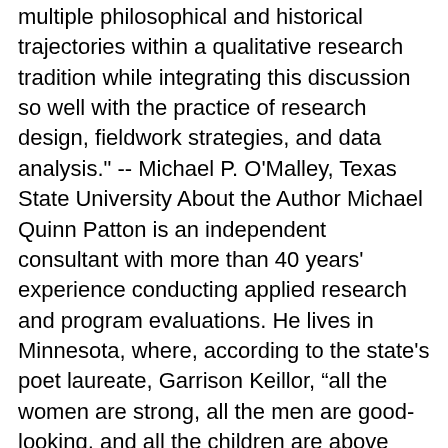multiple philosophical and historical trajectories within a qualitative research tradition while integrating this discussion so well with the practice of research design, fieldwork strategies, and data analysis." -- Michael P. O'Malley, Texas State University About the Author Michael Quinn Patton is an independent consultant with more than 40 years' experience conducting applied research and program evaluations. He lives in Minnesota, where, according to the state's poet laureate, Garrison Keillor, “all the women are strong, all the men are good-looking, and all the children are above average.” It was this interesting lack of statistical variation in Minnesota that led him to qualitative inquiry despite the strong quantitative orientation of his doctoral studies in sociology at the University of Wisconsin. He was on the faculty of the University of Minnesota for 18 years, including 5 years as director of the Minnesota Center for Social Research, where he was awarded the Morse-Amoco Award for innovative teaching. Readers of this book will not be